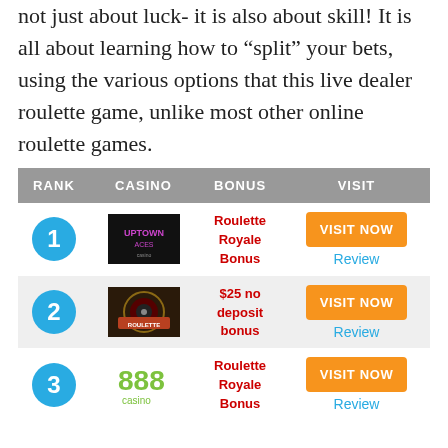not just about luck- it is also about skill! It is all about learning how to “split” your bets, using the various options that this live dealer roulette game, unlike most other online roulette games.
| RANK | CASINO | BONUS | VISIT |
| --- | --- | --- | --- |
| 1 | [Uptown Aces logo] | Roulette Royale Bonus | VISIT NOW / Review |
| 2 | [Roulette image] | $25 no deposit bonus | VISIT NOW / Review |
| 3 | [888 Casino logo] | Roulette Royale Bonus | VISIT NOW / Review |